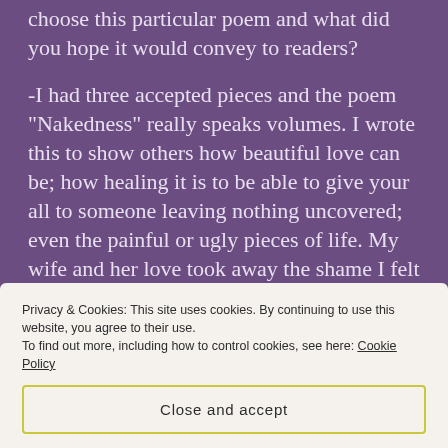choose this particular poem and what did you hope it would convey to readers?
-I had three accepted pieces and the poem “Nakedness” really speaks volumes. I wrote this to show others how beautiful love can be; how healing it is to be able to give your all to someone leaving nothing uncovered; even the painful or ugly pieces of life. My wife and her love took away the shame I felt in being out and open and the pain I felt growing up in trauma. I am forever grateful for her gentleness.
Privacy & Cookies: This site uses cookies. By continuing to use this website, you agree to their use.
To find out more, including how to control cookies, see here: Cookie Policy
Close and accept